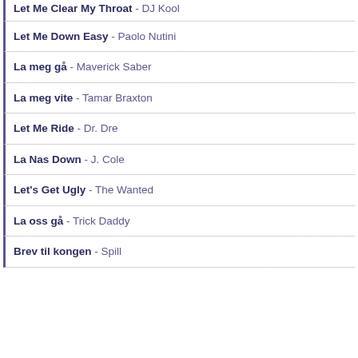Let Me Clear My Throat - DJ Kool
Let Me Down Easy - Paolo Nutini
La meg gå - Maverick Saber
La meg vite - Tamar Braxton
Let Me Ride - Dr. Dre
La Nas Down - J. Cole
Let's Get Ugly - The Wanted
La oss gå - Trick Daddy
Brev til kongen - Spill